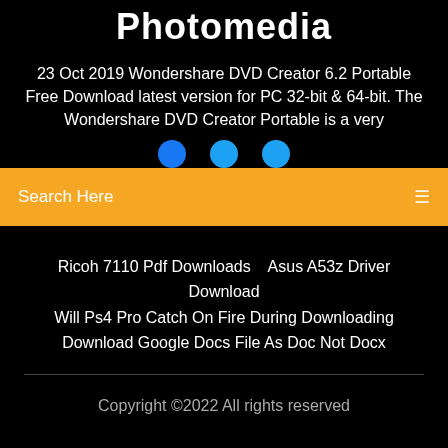Photomedia
23 Oct 2019 Wondershare DVD Creator 6.2 Portable Free Download latest version for PC 32-bit & 64-bit. The Wondershare DVD Creator Portable is a very
Search Here
Ricoh 7110 Pdf Downloads    Asus A53z Driver Download
Will Ps4 Pro Catch On Fire During Downloading
Download Google Docs File As Doc Not Docx
Copyright ©2022 All rights reserved